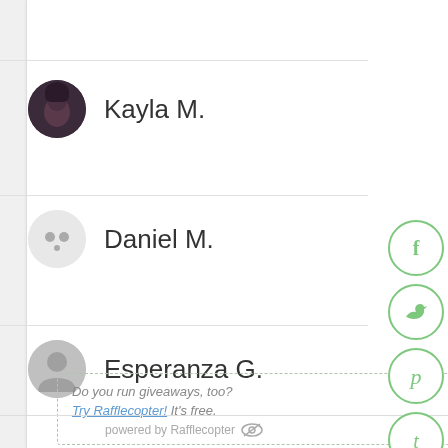Kayla M.
Daniel M.
Esperanza G.
Do you run giveaways, too? Try Rafflecopter! It's free.
powered by Rafflecopter